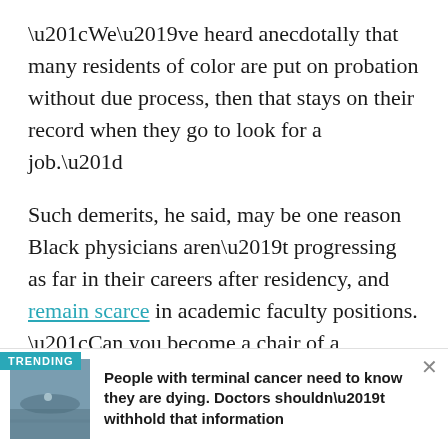“We’ve heard anecdotally that many residents of color are put on probation without due process, then that stays on their record when they go to look for a job.”
Such demerits, he said, may be one reason Black physicians aren’t progressing as far in their careers after residency, and remain scarce in academic faculty positions. “Can you become a chair of a department if you have to disclose you’ve been put on probation?” he asked.
Until such numbers become publicly available,
TRENDING
People with terminal cancer need to know they are dying. Doctors shouldn’t withhold that information